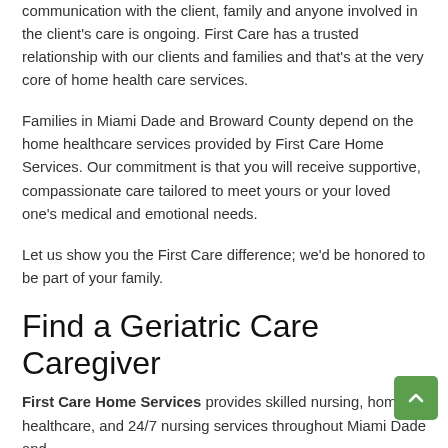communication with the client, family and anyone involved in the client's care is ongoing. First Care has a trusted relationship with our clients and families and that's at the very core of home health care services.
Families in Miami Dade and Broward County depend on the home healthcare services provided by First Care Home Services. Our commitment is that you will receive supportive, compassionate care tailored to meet yours or your loved one's medical and emotional needs.
Let us show you the First Care difference; we'd be honored to be part of your family.
Find a Geriatric Care Caregiver
First Care Home Services provides skilled nursing, home healthcare, and 24/7 nursing services throughout Miami Dade and